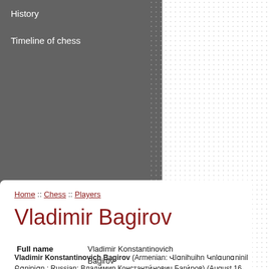History
Timeline of chess
Home :: Chess :: Players
Vladimir Bagirov
| Field | Value |
| --- | --- |
| Full name | Vladimir Konstantinovich Bagirov |
| Country | Soviet Union (1957-91)
Latvia (1991-2000) |
| Born | 16 August 1936
Baku, Azerbaijan SSR
Soviet Union |
| Title | Grandmaster |
| World Champion | World Senior Champion, 1998 |
Vladimir Konstantinovich Bagirov (Armenian: Վլադիմիր Կոնստանտինի Բագիրյան ; Russian: Владимир Константинович Багиров) (August 16, 1936 in Baku - July 21